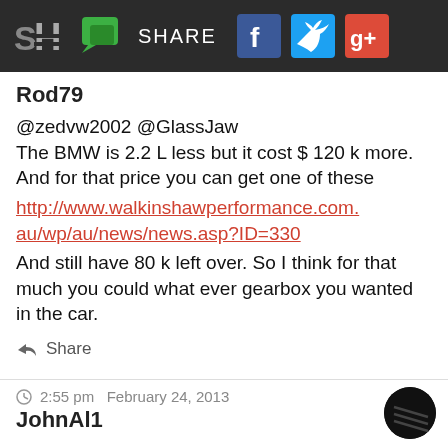SH | [chat icon] SHARE [facebook] [twitter] [google+]
Rod79
@zedvw2002 @GlassJaw
The BMW is 2.2 L less but it cost $ 120 k more.
And for that price you can get one of these
http://www.walkinshawperformance.com.au/wp/au/news/news.asp?ID=330
And still have 80 k left over. So I think for that much you could what ever gearbox you wanted in the car.
Share
2:55 pm  February 24, 2013
JohnAl1